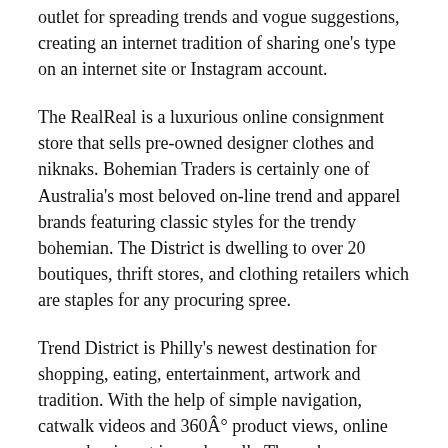outlet for spreading trends and vogue suggestions, creating an internet tradition of sharing one's type on an internet site or Instagram account.
The RealReal is a luxurious online consignment store that sells pre-owned designer clothes and niknaks. Bohemian Traders is certainly one of Australia's most beloved on-line trend and apparel brands featuring classic styles for the trendy bohemian. The District is dwelling to over 20 boutiques, thrift stores, and clothing retailers which are staples for any procuring spree.
Trend District is Philly's newest destination for shopping, eating, entertainment, artwork and tradition. With the help of simple navigation, catwalk videos and 360Â° product views, online vogue buying at is a cakewalk. Through our era-defining girls' clothes, online looking for ladies at would get you some important styles to own.
Cl-b...